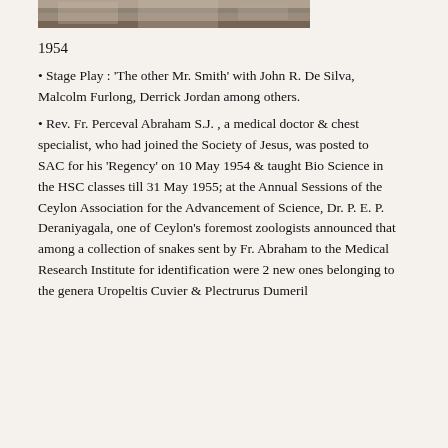[Figure (photo): Partial view of a black and white photograph at the top of the page]
1954
Stage Play : ‘The other Mr. Smith’ with John R. De Silva, Malcolm Furlong, Derrick Jordan among others.
Rev. Fr. Perceval Abraham S.J. , a medical doctor & chest specialist, who had joined the Society of Jesus, was posted to SAC for his ‘Regency’ on 10 May 1954 & taught Bio Science in the HSC classes till 31 May 1955; at the Annual Sessions of the Ceylon Association for the Advancement of Science, Dr. P. E. P. Deraniyagala, one of Ceylon’s foremost zoologists announced that among a collection of snakes sent by Fr. Abraham to the Medical Research Institute for identification were 2 new ones belonging to the genera Uropeltis Cuvier & Plectrurus Dumeril